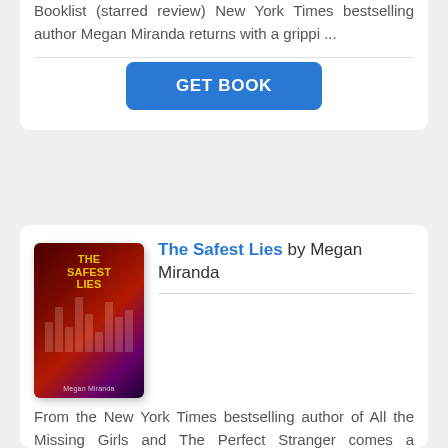Booklist (starred review) New York Times bestselling author Megan Miranda returns with a grippi ...
GET BOOK
[Figure (illustration): Book cover of 'The Safest Lies' by Megan Miranda, dark red and purple tones with vertical bars.]
The Safest Lies by Megan Miranda
From the New York Times bestselling author of All the Missing Girls and The Perfect Stranger comes a captivating psychological thriller about a girl who must face her darkest fears